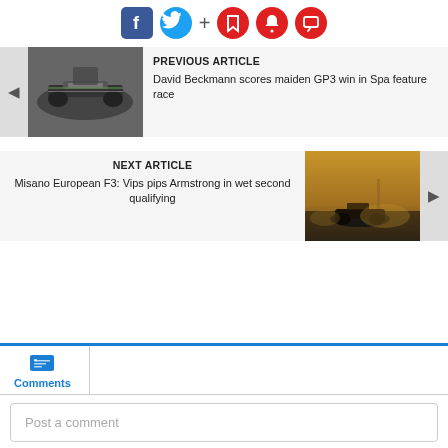[Figure (screenshot): Social sharing bar with Facebook, Twitter, plus, bookmark, bell, and comment icons]
PREVIOUS ARTICLE
David Beckmann scores maiden GP3 win in Spa feature race
[Figure (photo): GP3 racing car on track]
NEXT ARTICLE
Misano European F3: Vips pips Armstrong in wet second qualifying
[Figure (photo): F3 car on wet track at sunset]
Comments
Post a comment